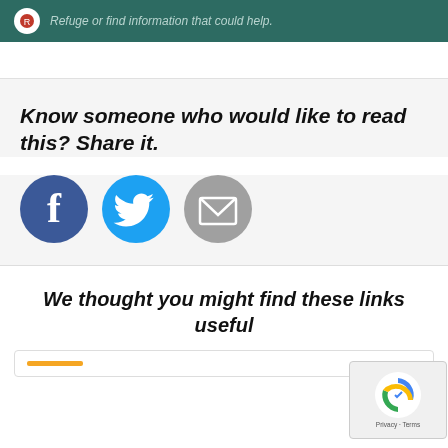[Figure (screenshot): Dark teal banner with circular logo and italic text 'Refuge or find information that could help.']
Know someone who would like to read this? Share it.
[Figure (infographic): Three social sharing icons: Facebook (dark blue circle with 'f'), Twitter (light blue circle with bird), Email (grey circle with envelope)]
We thought you might find these links useful
[Figure (screenshot): Partial link card with orange bar at bottom, overlaid by Google reCAPTCHA widget showing Privacy - Terms]